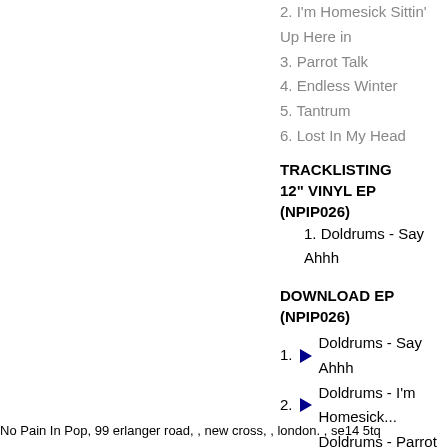2. I'm Homesick Sittin' Up Here in...
3. Parrot Talk
4. Endless Winter
5. Tantrum
6. Lost In My Head
TRACKLISTING
12" VINYL EP (NPIP026)
1. Doldrums - Say Ahhh
DOWNLOAD EP (NPIP026)
1. Doldrums - Say Ahhh
2. Doldrums - I'm Homesick...
3. Doldrums - Parrot Talk
4. Doldrums - Endless Winte...
5. Doldrums - Tantrum
6. Doldrums - Lost in My He...
No Pain In Pop, 99 erlanger road, , new cross, , london. , se14 5tq